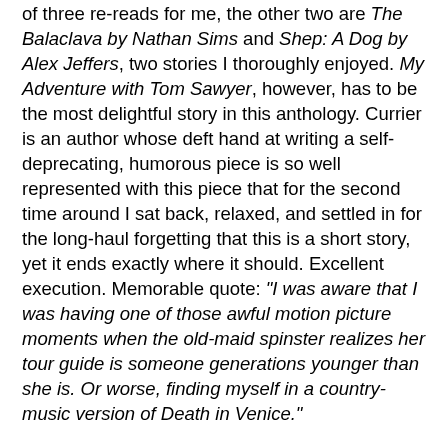of three re-reads for me, the other two are The Balaclava by Nathan Sims and Shep: A Dog by Alex Jeffers, two stories I thoroughly enjoyed. My Adventure with Tom Sawyer, however, has to be the most delightful story in this anthology. Currier is an author whose deft hand at writing a self-deprecating, humorous piece is so well represented with this piece that for the second time around I sat back, relaxed, and settled in for the long-haul forgetting that this is a short story, yet it ends exactly where it should. Excellent execution. Memorable quote: "I was aware that I was having one of those awful motion picture moments when the old-maid spinster realizes her tour guide is someone generations younger than she is. Or worse, finding myself in a country-music version of Death in Venice."

"Smuggler" by Philip Kennicott. "I remember my first kiss with absolute clarity. I was reading on a black chaise lounge, upholstered with shiny velour, and it was right after dinner, the hour of freedom before I was obliged to begin my homework. I was sixteen. It must have been early autumn or late spring, because I know I was in school at the time, and the sun was still out. I was shocked and thrilled by it, and